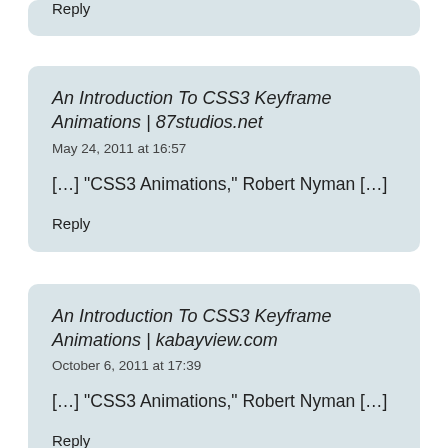Reply
An Introduction To CSS3 Keyframe Animations | 87studios.net
May 24, 2011 at 16:57
[…] “CSS3 Animations,” Robert Nyman […]
Reply
An Introduction To CSS3 Keyframe Animations | kabayview.com
October 6, 2011 at 17:39
[…] “CSS3 Animations,” Robert Nyman […]
Reply